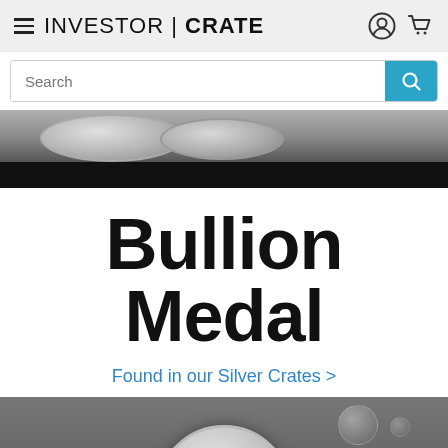INVESTOR | CRATE
Search
[Figure (photo): Close-up grayscale photo of silver bullion coins/rounds stacked, showing fine silver markings]
Bullion Medal
Found in our Silver Crates >
[Figure (photo): Grayscale photo of a silver bullion medal/coin featuring a wolf engraving, on a gray background with blurred bokeh orbs]